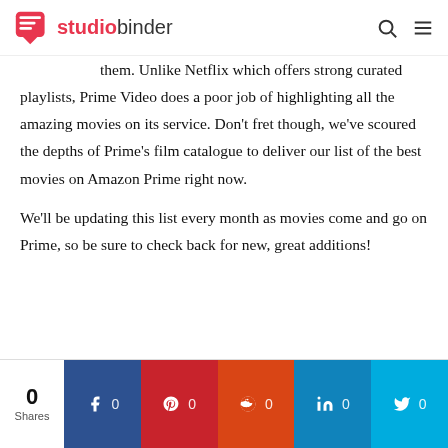studiobinder
them. Unlike Netflix which offers strong curated playlists, Prime Video does a poor job of highlighting all the amazing movies on its service. Don't fret though, we've scoured the depths of Prime's film catalogue to deliver our list of the best movies on Amazon Prime right now.
We'll be updating this list every month as movies come and go on Prime, so be sure to check back for new, great additions!
0 Shares | Facebook 0 | Pinterest 0 | Reddit 0 | LinkedIn 0 | Twitter 0